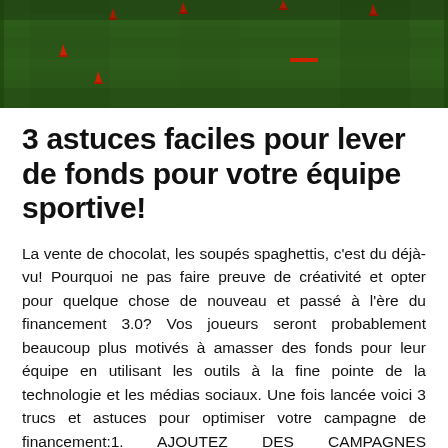[Figure (photo): Aerial view of a football/soccer training field with red training cones visible on green grass]
3 astuces faciles pour lever de fonds pour votre équipe sportive!
La vente de chocolat, les soupés spaghettis, c'est du déjà-vu! Pourquoi ne pas faire preuve de créativité et opter pour quelque chose de nouveau et passé à l'ère du financement 3.0? Vos joueurs seront probablement beaucoup plus motivés à amasser des fonds pour leur équipe en utilisant les outils à la fine pointe de la technologie et les médias sociaux. Une fois lancée voici 3 trucs et astuces pour optimiser votre campagne de financement:1. AJOUTEZ DES CAMPAGNES INDIVIDUELLESCréer des campagnes satellites pour chacun de vos joueurs à l'aide de la